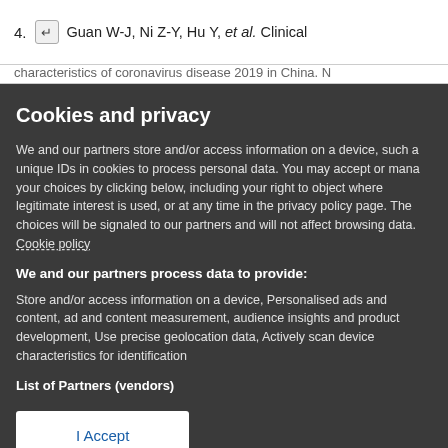4. Guan W-J, Ni Z-Y, Hu Y, et al. Clinical
characteristics of coronavirus disease 2019 in China. N
Cookies and privacy
We and our partners store and/or access information on a device, such as unique IDs in cookies to process personal data. You may accept or manage your choices by clicking below, including your right to object where legitimate interest is used, or at any time in the privacy policy page. These choices will be signaled to our partners and will not affect browsing data. Cookie policy
We and our partners process data to provide:
Store and/or access information on a device, Personalised ads and content, ad and content measurement, audience insights and product development, Use precise geolocation data, Actively scan device characteristics for identification
List of Partners (vendors)
I Accept